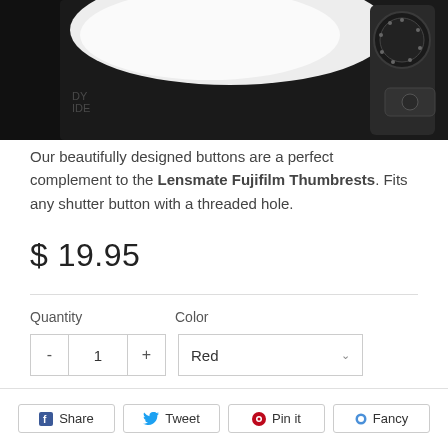[Figure (photo): Close-up photo of a camera shutter button area on a black camera body with white accents]
Our beautifully designed buttons are a perfect complement to the Lensmate Fujifilm Thumbrests. Fits any shutter button with a threaded hole.
$ 19.95
Quantity   Color   1   Red   Add to Cart
Share   Tweet   Pin it   Fancy